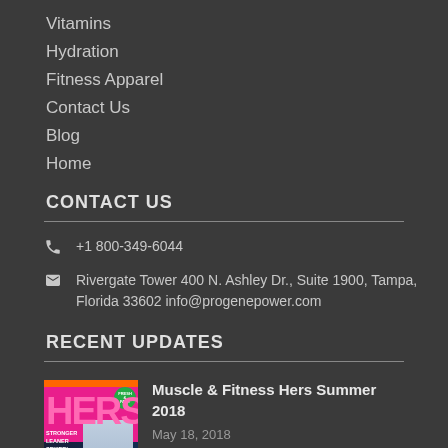Vitamins
Hydration
Fitness Apparel
Contact Us
Blog
Home
CONTACT US
+1 800-349-6044
Rivergate Tower 400 N. Ashley Dr., Suite 1900, Tampa, Florida 33602 info@progenepower.com
RECENT UPDATES
[Figure (photo): Magazine cover of Muscle & Fitness HERS showing a fitness model]
Muscle & Fitness Hers Summer 2018
May 18, 2018
Pro Gene Water Featured in 'Next Generation Sports Drinks'